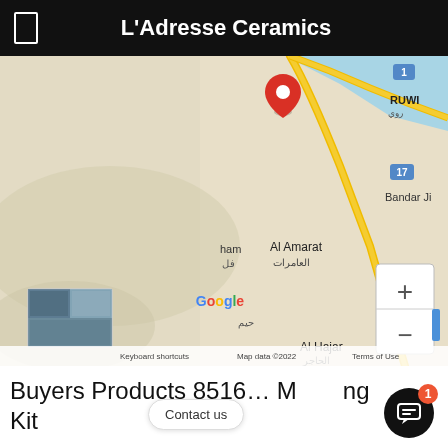L'Adresse Ceramics
[Figure (map): Google Maps screenshot showing area around RUWI (روي), Al Amarat (العامرات), Al Hajar (الحاجر), Bandar Ji, with a red location pin marker, zoom controls (+/-), a small satellite thumbnail, Google logo, and footer text 'Keyboard shortcuts  Map data ©2022  Terms of Use']
Buyers Products 8516... Mounting Kit
Contact us